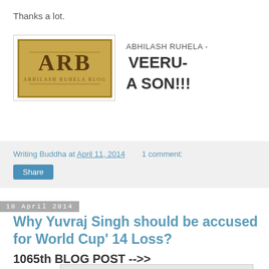Thanks a lot.
[Figure (logo): ARB Abhilash Ruhela Blog logo on a golden/brown textured background]
ABHILASH RUHELA - VEERU-A SON!!!
Writing Buddha at April 11, 2014    1 comment:
Share
10 April 2014
Why Yuvraj Singh should be accused for World Cup' 14 Loss?
1065th BLOG POST -->>